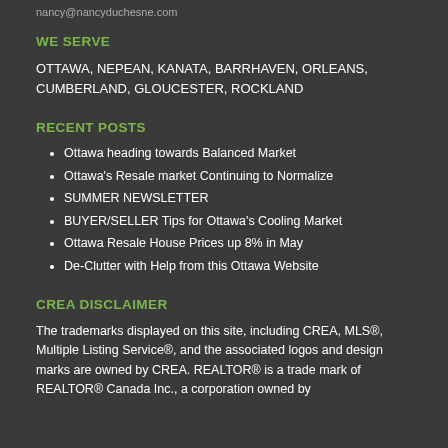nancy@nancyduchesne.com
WE SERVE
OTTAWA, NEPEAN, KANATA, BARRHAVEN, ORLEANS, CUMBERLAND, GLOUCESTER, ROCKLAND
RECENT POSTS
Ottawa heading towards Balanced Market
Ottawa's Resale market Continuing to Normalize
SUMMER NEWSLETTER
BUYER/SELLER Tips for Ottawa's Cooling Market
Ottawa Resale House Prices up 8% in May
De-Clutter with Help from this Ottawa Website
CREA DISCLAIMER
The trademarks displayed on this site, including CREA, MLS®, Multiple Listing Service®, and the associated logos and design marks are owned by CREA. REALTOR® is a trade mark of REALTOR® Canada Inc., a corporation owned by